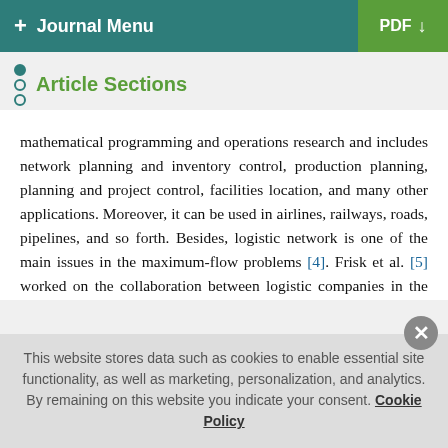+ Journal Menu | PDF ↓
Article Sections
mathematical programming and operations research and includes network planning and inventory control, production planning, planning and project control, facilities location, and many other applications. Moreover, it can be used in airlines, railways, roads, pipelines, and so forth. Besides, logistic network is one of the main issues in the maximum-flow problems [4]. Frisk et al. [5] worked on the collaboration between logistic companies in the forest industries by investigating a number of sharing mechanisms including nucleolus, Shapley value, shadow prices, separable and nonseparable costs, and volume weights. Lehoux et al. [6] considered different cooperation techniques such as the
This website stores data such as cookies to enable essential site functionality, as well as marketing, personalization, and analytics. By remaining on this website you indicate your consent. Cookie Policy